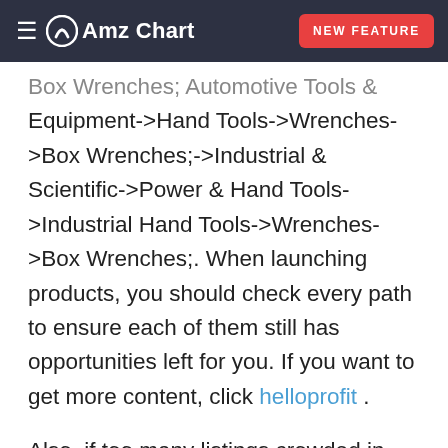AmzChart  NEW FEATURE
Box Wrenches; Automotive Tools & Equipment->Hand Tools->Wrenches->Box Wrenches;->Industrial & Scientific->Power & Hand Tools->Industrial Hand Tools->Wrenches->Box Wrenches;. When launching products, you should check every path to ensure each of them still has opportunities left for you. If you want to get more content, click helloprofit .
Also, if too many listings crowded in one category, it might show there has fierce competition. Currently, Box Wrenches has 728 listings in total, is the